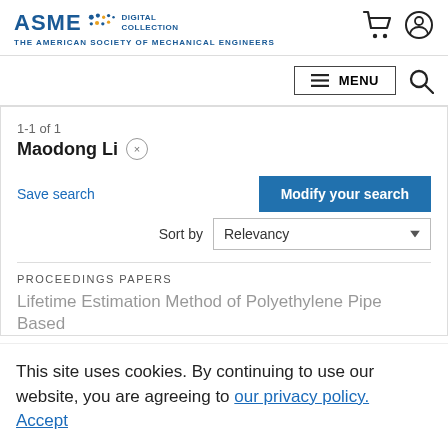ASME DIGITAL COLLECTION — THE AMERICAN SOCIETY OF MECHANICAL ENGINEERS
1-1 of 1
Maodong Li ×
Save search
Modify your search
Sort by Relevancy
PROCEEDINGS PAPERS
Lifetime Estimation Method of Polyethylene Pipe Based
This site uses cookies. By continuing to use our website, you are agreeing to our privacy policy. Accept